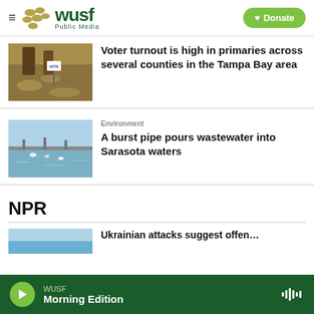WUSF Public Media / Donate
[Figure (photo): Outdoor scene with voting signs and dappled sunlight on ground]
Voter turnout is high in primaries across several counties in the Tampa Bay area
Environment
[Figure (photo): A waterway with boats and a bridge in Sarasota]
A burst pipe pours wastewater into Sarasota waters
NPR
[Figure (photo): Partial image — blue sky/water scene]
Ukrainian attacks suggest offensive…
WUSF Morning Edition